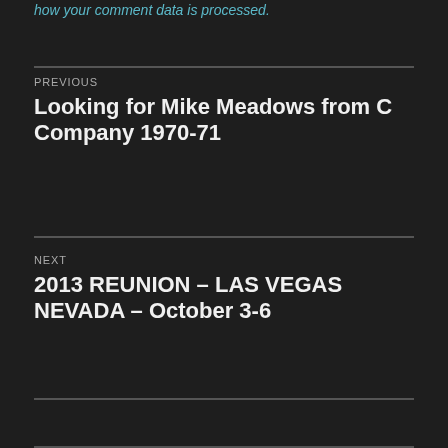how your comment data is processed.
PREVIOUS
Looking for Mike Meadows from C Company 1970-71
NEXT
2013 REUNION – LAS VEGAS NEVADA – October 3-6